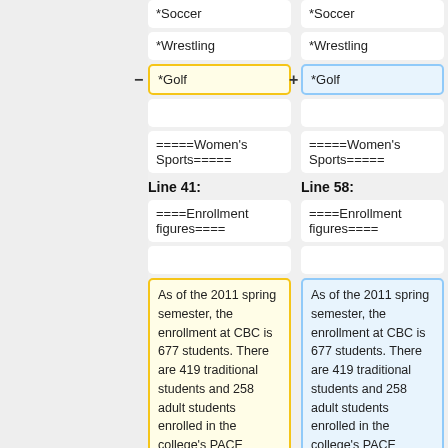*Soccer
*Soccer
*Wrestling
*Wrestling
*Golf
*Golf
=====Women's Sports=====
=====Women's Sports=====
Line 41:
Line 58:
====Enrollment figures====
====Enrollment figures====
As of the 2011 spring semester, the enrollment at CBC is 677 students. There are 419 traditional students and 258 adult students enrolled in the college's PACE
As of the 2011 spring semester, the enrollment at CBC is 677 students. There are 419 traditional students and 258 adult students enrolled in the college's PACE